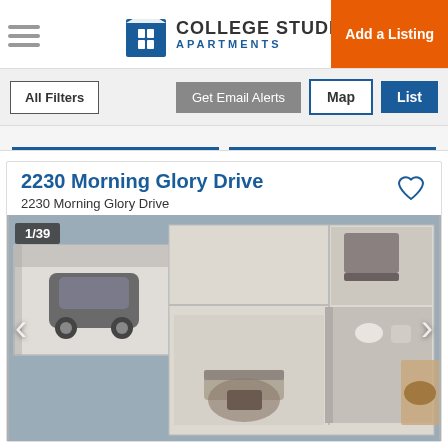COLLEGE STUDENT APARTMENTS | Add a Listing
All Filters | Get Email Alerts | Map | List
2230 Morning Glory Drive
2230 Morning Glory Drive
[Figure (photo): 3D floor plan rendering showing top-down view of an apartment with garage containing a car, living area with sofa and rug, kitchen, bathroom, bedroom, and outdoor patio. Image counter shows 1/39 with navigation arrows.]